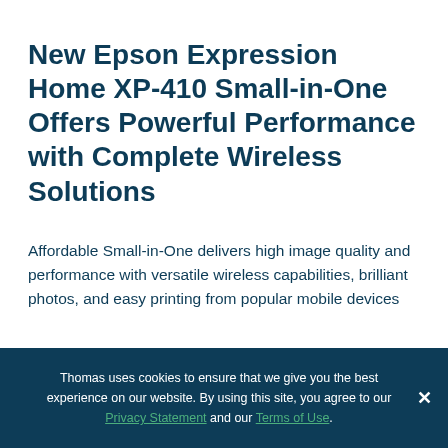New Epson Expression Home XP-410 Small-in-One Offers Powerful Performance with Complete Wireless Solutions
Affordable Small-in-One delivers high image quality and performance with versatile wireless capabilities, brilliant photos, and easy printing from popular mobile devices
Thomas uses cookies to ensure that we give you the best experience on our website. By using this site, you agree to our Privacy Statement and our Terms of Use.